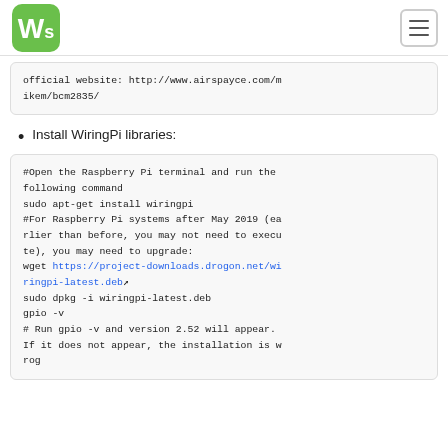Waveshare logo and navigation
official website: http://www.airspayce.com/mikem/bcm2835/
Install WiringPi libraries:
#Open the Raspberry Pi terminal and run the following command
sudo apt-get install wiringpi
#For Raspberry Pi systems after May 2019 (earlier than before, you may not need to execute), you may need to upgrade:
wget https://project-downloads.drogon.net/wiringpi-latest.deb
sudo dpkg -i wiringpi-latest.deb
gpio -v
# Run gpio -v and version 2.52 will appear. If it does not appear, the installation is wrong